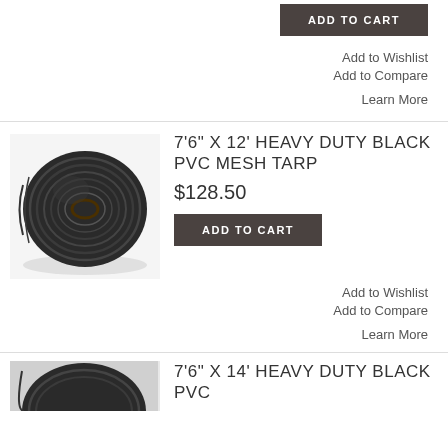ADD TO CART
Add to Wishlist
Add to Compare
Learn More
[Figure (photo): Rolled black PVC mesh tarp]
7'6" X 12' HEAVY DUTY BLACK PVC MESH TARP
$128.50
ADD TO CART
Add to Wishlist
Add to Compare
Learn More
[Figure (photo): Rolled black PVC mesh tarp, partial view]
7'6" X 14' HEAVY DUTY BLACK PVC